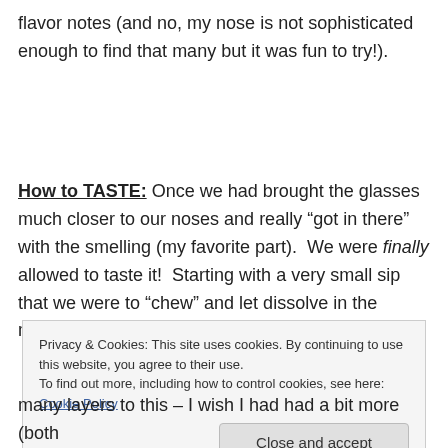flavor notes (and no, my nose is not sophisticated enough to find that many but it was fun to try!).
How to TASTE: Once we had brought the glasses much closer to our noses and really “got in there” with the smelling (my favorite part). We were finally allowed to taste it! Starting with a very small sip that we were to “chew” and let dissolve in the mouth – this technique (just
Privacy & Cookies: This site uses cookies. By continuing to use this website, you agree to their use.
To find out more, including how to control cookies, see here: Cookie Policy
Close and accept
many layers to this – I wish I had had a bit more (both